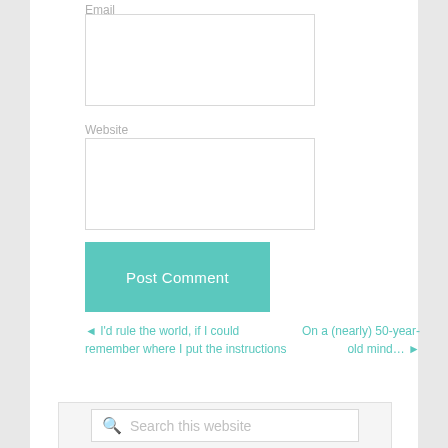Email
[Figure (screenshot): Email input text box, empty, white background with light gray border]
Website
[Figure (screenshot): Website input text box, empty, white background with light gray border]
[Figure (screenshot): Post Comment button, teal/turquoise background, white text]
◄ I'd rule the world, if I could remember where I put the instructions
On a (nearly) 50-year-old mind… ►
[Figure (screenshot): Search this website search box with magnifying glass icon]